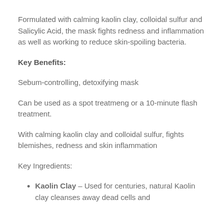Formulated with calming kaolin clay, colloidal sulfur and Salicylic Acid, the mask fights redness and inflammation as well as working to reduce skin-spoiling bacteria.
Key Benefits:
Sebum-controlling, detoxifying mask
Can be used as a spot treatmeng or a 10-minute flash treatment.
With calming kaolin clay and colloidal sulfur, fights blemishes, redness and skin inflammation
Key Ingredients:
Kaolin Clay – Used for centuries, natural Kaolin clay cleanses away dead cells and